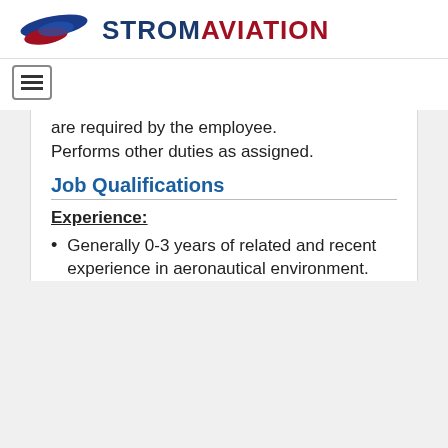STROM AVIATION
are required by the employee. Performs other duties as assigned.
Job Qualifications
Experience:
Generally 0-3 years of related and recent experience in aeronautical environment.